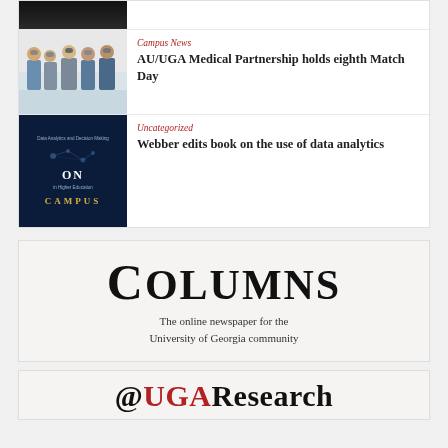[Figure (photo): Dark photo at top, partial view, cut off]
[Figure (photo): Group photo of people wearing masks in a classroom setting]
Campus News
AU/UGA Medical Partnership holds eighth Match Day
[Figure (photo): Book cover: Data Analytics and Decision Making On Campus in Higher Education]
Uncategorized
Webber edits book on the use of data analytics
[Figure (logo): Columns - The online newspaper for the University of Georgia community]
[Figure (logo): @UGA Research logo]